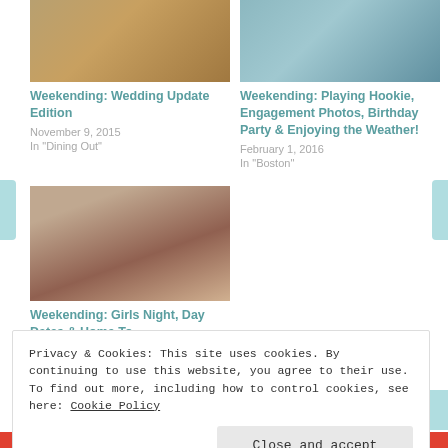[Figure (photo): Photo related to wedding/decorations, top left card image]
Weekending: Wedding Update Edition
November 9, 2015
In "Dining Out"
[Figure (photo): Photo of woman holding baby against teal background, top right card image]
Weekending: Playing Hookie, Engagement Photos, Birthday Party & Enjoying the Weather!
February 1, 2016
In "Boston"
[Figure (photo): Selfie photo of woman with sunglasses and pink headband outdoors]
Weekending: Girls Night, Day Dates & Home To
Privacy & Cookies: This site uses cookies. By continuing to use this website, you agree to their use.
To find out more, including how to control cookies, see here: Cookie Policy
Close and accept